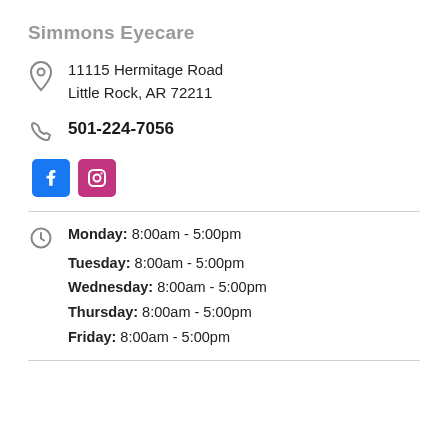Simmons Eyecare
11115 Hermitage Road
Little Rock, AR 72211
501-224-7056
[Figure (logo): Facebook and Instagram social media icon buttons]
Monday: 8:00am - 5:00pm
Tuesday: 8:00am - 5:00pm
Wednesday: 8:00am - 5:00pm
Thursday: 8:00am - 5:00pm
Friday: 8:00am - 5:00pm